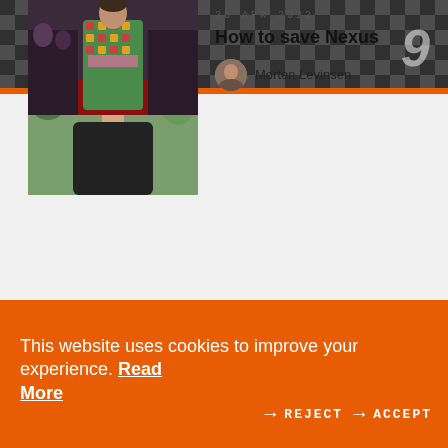[Figure (photo): Top banner with checkered/chess pattern background in dark tones with partial text/numbers visible on right side]
[Figure (photo): Portrait photo of a young man with short light hair wearing a dark shirt, outdoors with greenery background]
26 APR 2022
How to save Nexus
[Figure (photo): Small circular avatar portrait of Morten Levinsen]
Morten Levinsen
[Figure (photo): Person in colorful patterned outfit standing on a red carpet event]
25 APR 2022
“I remember how astonished I was when I saw how people are more accustomed to buying
This website uses cookies to improve your experience. Read More
→ REJECT → ACCEPT